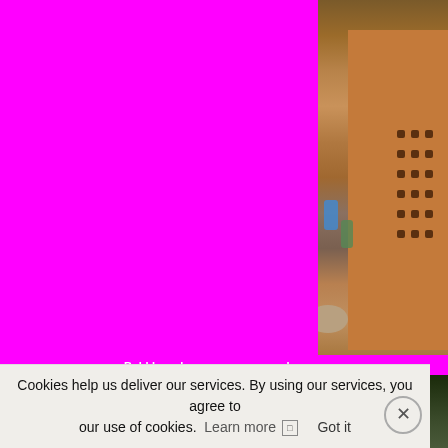[Figure (photo): A brick wall structure with plastic bottles and a rock, outdoors in a sandy/dirt environment. The photo occupies the top-right portion of the page.]
Bubble makers were very popular, as
[Figure (photo): A small outdoor photo showing a dark green/forested scene, partially visible at bottom right.]
Cookies help us deliver our services. By using our services, you agree to our use of cookies. Learn more  Got it